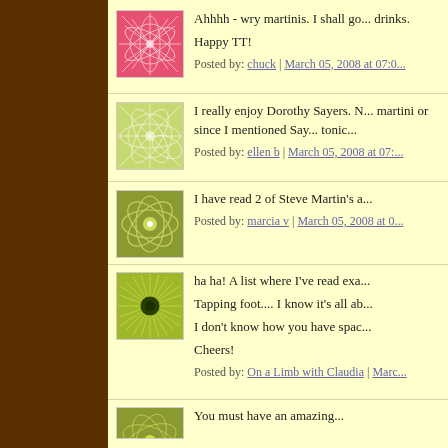[Figure (illustration): Pink/red decorative starburst/flower avatar image]
Ahhhh - wry martinis. I shall go... drinks.

Happy TT!

Posted by: chuck | March 05, 2008 at 07:0...
[Figure (illustration): Green decorative starburst/leaf pattern avatar image]
I really enjoy Dorothy Sayers. N... martini or since I mentioned Say... tonic...

Posted by: ellen b | March 05, 2008 at 07:...
[Figure (illustration): Olive/yellow-green flower avatar image]
I have read 2 of Steve Martin's a...

Posted by: marcia v | March 05, 2008 at 0...
[Figure (illustration): Green sunburst with dark center circle avatar image]
ha ha! A list where I've read exa...

Tapping foot.... I know it's all ab...

I don't know how you have spac...

Cheers!

Posted by: On a Limb with Claudia | Marc...
[Figure (illustration): Green/olive small decorative avatar image (partial)]
You must have an amazing...